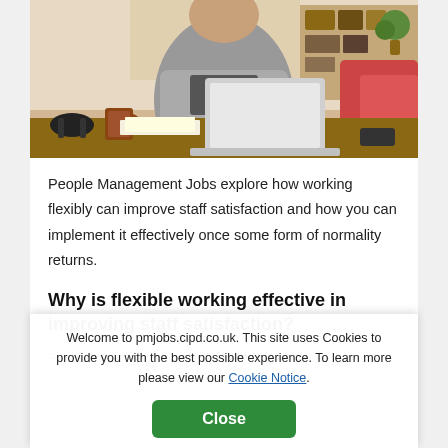[Figure (photo): Person working on a laptop at a home office desk with headphones and a coffee mug]
People Management Jobs explore how working flexibly can improve staff satisfaction and how you can implement it effectively once some form of normality returns.
Why is flexible working effective in improving staff satisfaction?
Flexible working is a broad term that covers a...
Whether that is offering employees the flexibility to work remotely or within alternative working hours, the key theme of flexible working is that an employer is
Welcome to pmjobs.cipd.co.uk. This site uses Cookies to provide you with the best possible experience. To learn more please view our Cookie Notice.
Close